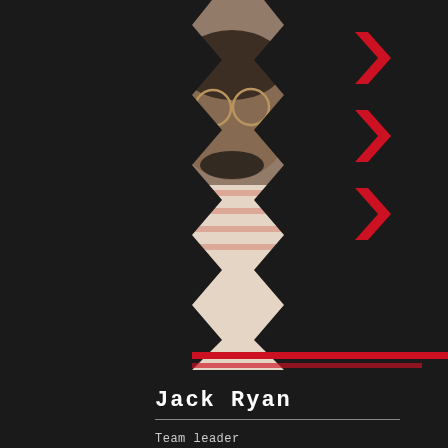[Figure (photo): Portrait photo of a young Black man with glasses and a beard, wearing a striped shirt, resting his chin on his hand. Photo is framed in a zigzag/chevron shape with red and black decorative chevron borders.]
Jack Ryan
Team leader
designer
[Figure (photo): Partial portrait photo of a person with light brown hair, visible only from the top of the head, framed in a similar chevron/zigzag shape with blue and black decorative borders.]